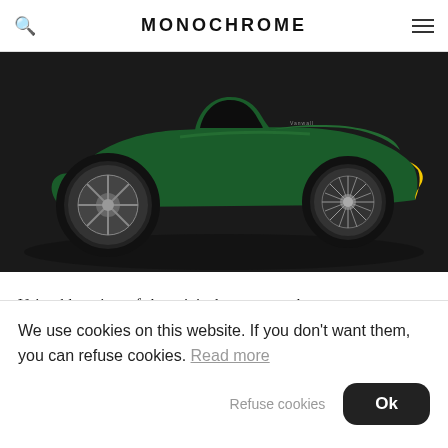MONOCHROME
[Figure (photo): Side profile of a vintage British Racing Green Formula 1 car with wire-spoke rear wheel and wider front wheel, photographed against a dark studio background.]
Using blueprints of the original car meant there was no room to deviate from it, otherwise it wouldn't be an accurate recreation. This also meant no Jaguar V12 this
We use cookies on this website. If you don't want them, you can refuse cookies. Read more